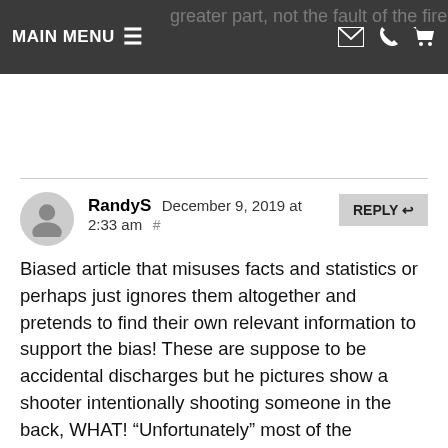MAIN MENU
greater part, not the fault of the firearm but the user.
RandyS December 9, 2019 at 2:33 am # REPLY
Biased article that misuses facts and statistics or perhaps just ignores them altogether and pretends to find their own relevant information to support the bias! These are suppose to be accidental discharges but he pictures show a shooter intentionally shooting someone in the back, WHAT! “Unfortunately” most of the accidental discharges are in the home? Where do you store, clean, and repair firearms that you own? Anyone that would not guess the home as the number one place for accidents to occur has some logic issues. The entire article is dripping in bias and by-the-way, Negligent discharge would be a legal standard that separates accident